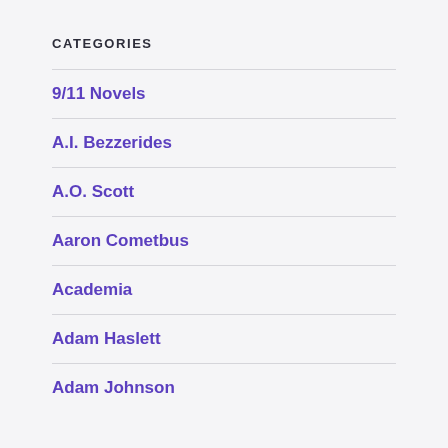CATEGORIES
9/11 Novels
A.I. Bezzerides
A.O. Scott
Aaron Cometbus
Academia
Adam Haslett
Adam Johnson